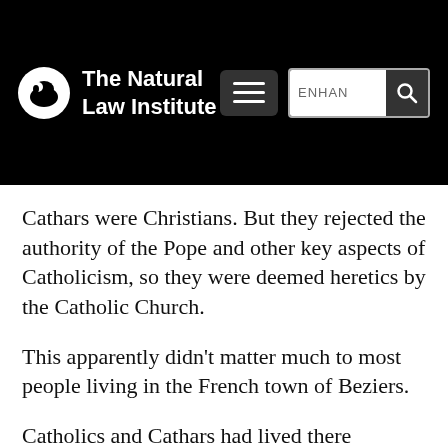The Natural Law Institute
Cathars were Christians. But they rejected the authority of the Pope and other key aspects of Catholicism, so they were deemed heretics by the Catholic Church.
This apparently didn't matter much to most people living in the French town of Beziers.
Catholics and Cathars had lived there together for many years in relative harmony.
On July 22, 1209, they were celebrating the annual Feast of Mary Magdalene together,